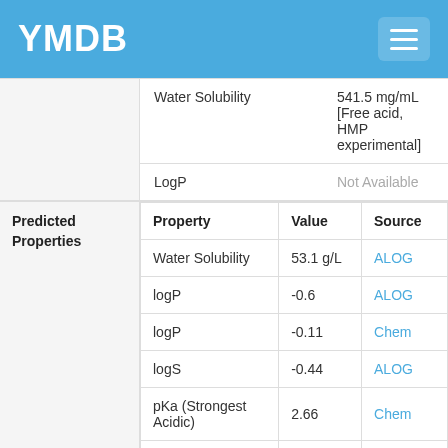YMDB
|  | Water Solubility | 541.5 mg/mL [Free acid, HMP experimental] |
| --- | --- | --- |
|  | LogP | Not Available |
| Property | Value | Source |
| --- | --- | --- |
| Water Solubility | 53.1 g/L | ALOG |
| logP | -0.6 | ALOG |
| logP | -0.11 | Chem |
| logS | -0.44 | ALOG |
| pKa (Strongest Acidic) | 2.66 | Chem |
| pKa (Strongest Basic) | -9.7 | Chem |
| Physiological | -2 | Chem |